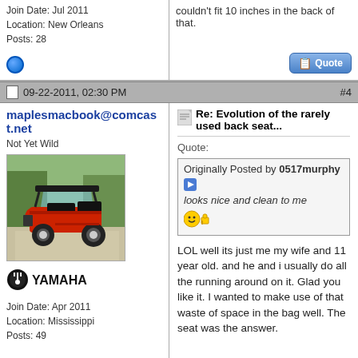Join Date: Jul 2011
Location: New Orleans
Posts: 28
couldn't fit 10 inches in the back of that.
09-22-2011, 02:30 PM
#4
maplesmacbook@comcast.net
Not Yet Wild
[Figure (photo): Red Yamaha golf cart with black roof and seats, photographed outdoors on a driveway]
[Figure (logo): Yamaha logo with circular emblem and YAMAHA text]
Join Date: Apr 2011
Location: Mississippi
Posts: 49
Re: Evolution of the rarely used back seat...
Quote:
Originally Posted by 0517murphy
looks nice and clean to me
LOL well its just me my wife and 11 year old. and he and i usually do all the running around on it. Glad you like it. I wanted to make use of that waste of space in the bag well. The seat was the answer.